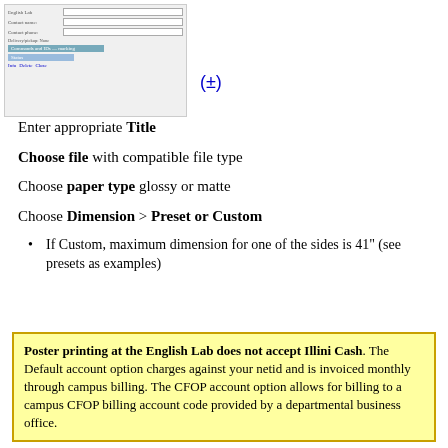[Figure (screenshot): Screenshot of a form interface showing fields for Contact name, Contact phone, Delivery/pickup, None, with a Commands and IDs marking bar, a Status bar, and Info/Delete/Close buttons at the bottom. A circled plus symbol appears to the right.]
Enter appropriate Title
Choose file with compatible file type
Choose paper type glossy or matte
Choose Dimension > Preset or Custom
If Custom, maximum dimension for one of the sides is 41" (see presets as examples)
Poster printing at the English Lab does not accept Illini Cash. The Default account option charges against your netid and is invoiced monthly through campus billing. The CFOP account option allows for billing to a campus CFOP billing account code provided by a departmental business office.